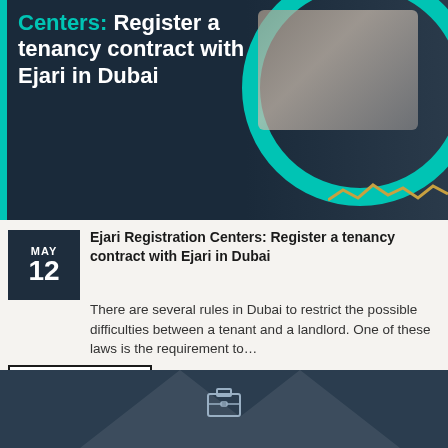[Figure (photo): Hero banner with dark navy background, teal circular border element on right, hand holding document image, and bold white/teal title text]
Centers: Register a tenancy contract with Ejari in Dubai
Ejari Registration Centers: Register a tenancy contract with Ejari in Dubai
There are several rules in Dubai to restrict the possible difficulties between a tenant and a landlord. One of these laws is the requirement to…
READ MORE
SEE MORE
[Figure (illustration): Dark navy footer with briefcase/toolbox icon in center]